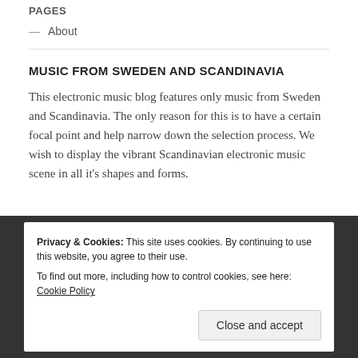PAGES
— About
MUSIC FROM SWEDEN AND SCANDINAVIA
This electronic music blog features only music from Sweden and Scandinavia. The only reason for this is to have a certain focal point and help narrow down the selection process. We wish to display the vibrant Scandinavian electronic music scene in all it's shapes and forms.
Privacy & Cookies: This site uses cookies. By continuing to use this website, you agree to their use.
To find out more, including how to control cookies, see here: Cookie Policy
Close and accept